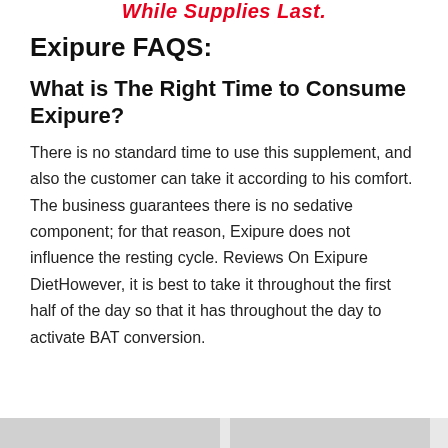While Supplies Last.
Exipure FAQS:
What is The Right Time to Consume Exipure?
There is no standard time to use this supplement, and also the customer can take it according to his comfort. The business guarantees there is no sedative component; for that reason, Exipure does not influence the resting cycle. Reviews On Exipure DietHowever, it is best to take it throughout the first half of the day so that it has throughout the day to activate BAT conversion.